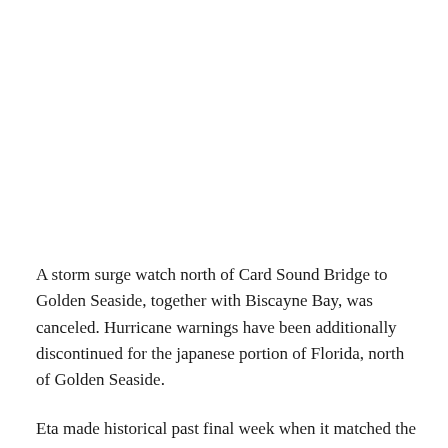A storm surge watch north of Card Sound Bridge to Golden Seaside, together with Biscayne Bay, was canceled. Hurricane warnings have been additionally discontinued for the japanese portion of Florida, north of Golden Seaside.
Eta made historical past final week when it matched the power of Hurricane Laura, the strongest storm of the brutal 2020 hurricane season, with winds peaked at 150 mph. That is just